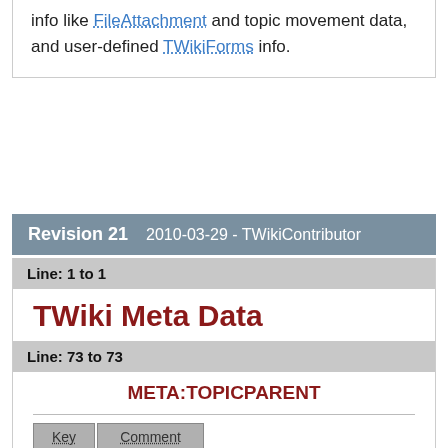info like FileAttachment and topic movement data, and user-defined TWikiForms info.
Revision 21   2010-03-29 - TWikiContributor
Line: 1 to 1
TWiki Meta Data
Line: 73 to 73
META:TOPICPARENT
| Key | Comment |
| --- | --- |
Changed:
| name |
| --- |
| The topic from which this was |